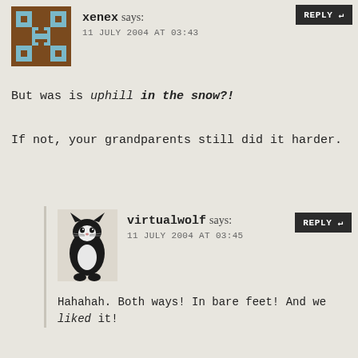[Figure (illustration): Pixel art avatar for user xenex: brown background with blue/brown geometric H-like shape]
xenex says:
11 JULY 2004 AT 03:43
REPLY ↵
But was is uphill in the snow?!
If not, your grandparents still did it harder.
[Figure (photo): Photo of a black and white cat sitting, looking upward]
virtualwolf says:
11 JULY 2004 AT 03:45
REPLY ↵
Hahahah. Both ways! In bare feet! And we liked it!